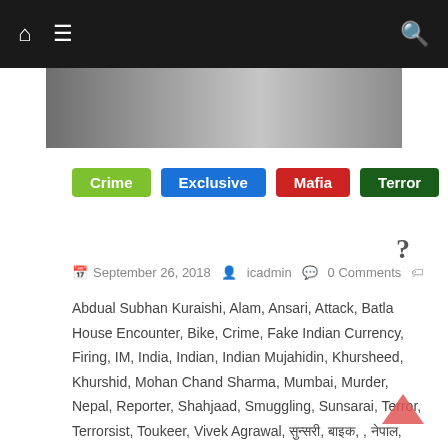Navigation bar with home, menu, and search icons
[Figure (photo): Grayscale hero image banner showing blurred figures]
Crime | Exclusive | Mafia | Terror
September 26, 2018  icadmin  0 Comments
Abdual Subhan Kuraishi, Alam, Ansari, Attack, Batla House Encounter, Bike, Crime, Fake Indian Currency, Firing, IM, India, Indian, Indian Mujahidin, Khursheed, Khurshid, Mohan Chand Sharma, Mumbai, Murder, Nepal, Reporter, Shahjaad, Smuggling, Sunsarai, Terror, Terrorsist, Toukeer, Vivek Agrawal, [Hindi text tags]